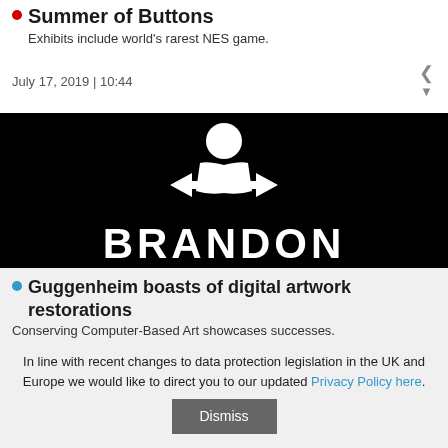Summer of Buttons
Exhibits include world's rarest NES game.
July 17, 2019 | 10:44
[Figure (logo): Black background with white stylized figure icon above the text 'BRANDON' in bold white letters]
Guggenheim boasts of digital artwork restorations
Conserving Computer-Based Art showcases successes.
In line with recent changes to data protection legislation in the UK and Europe we would like to direct you to our updated Privacy Policy here.
Dismiss